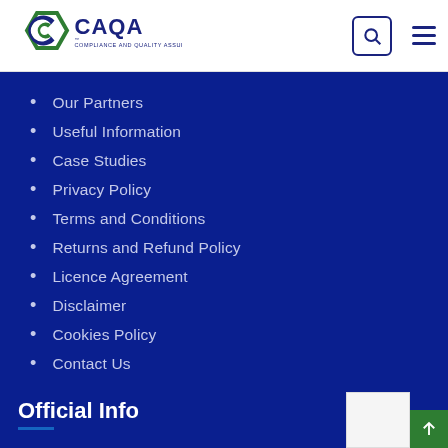CAQA - Compliance and Quality Assurance
Our Partners
Useful Information
Case Studies
Privacy Policy
Terms and Conditions
Returns and Refund Policy
Licence Agreement
Disclaimer
Cookies Policy
Contact Us
Official Info